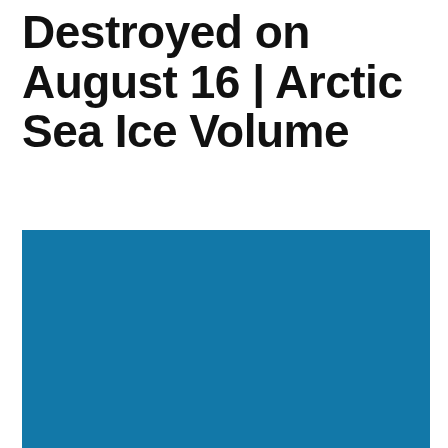Destroyed on August 16 | Arctic Sea Ice Volume
[Figure (other): Large solid blue rectangle representing Arctic Sea Ice Volume illustration or chart background, color #1278a8]